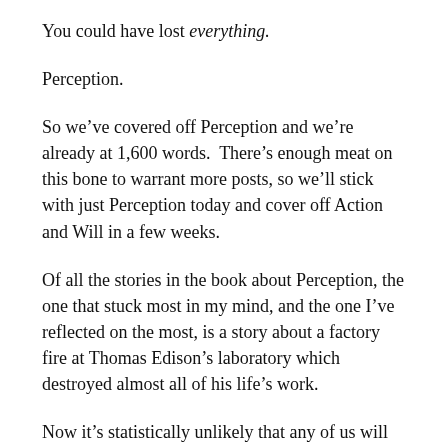You could have lost everything.
Perception.
So we've covered off Perception and we're already at 1,600 words.  There's enough meat on this bone to warrant more posts, so we'll stick with just Perception today and cover off Action and Will in a few weeks.
Of all the stories in the book about Perception, the one that stuck most in my mind, and the one I've reflected on the most, is a story about a factory fire at Thomas Edison's laboratory which destroyed almost all of his life's work.
Now it's statistically unlikely that any of us will ever reach the heady heights of Edison, but if he can approach the razing of his factory as a spectacle to